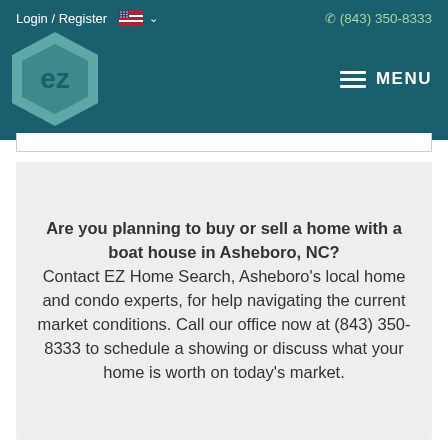Login / Register  (843) 350-8333  MENU
[Figure (logo): EZ Home Search hexagon logo in teal with 'ez' text inside]
Are you planning to buy or sell a home with a boat house in Asheboro, NC? Contact EZ Home Search, Asheboro's local home and condo experts, for help navigating the current market conditions. Call our office now at (843) 350-8333 to schedule a showing or discuss what your home is worth on today's market.